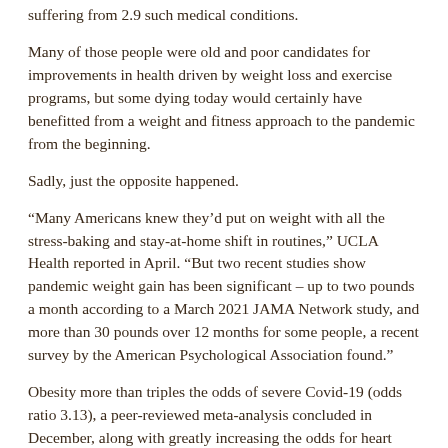suffering from 2.9 such medical conditions.
Many of those people were old and poor candidates for improvements in health driven by weight loss and exercise programs, but some dying today would certainly have benefitted from a weight and fitness approach to the pandemic from the beginning.
Sadly, just the opposite happened.
“Many Americans knew they’d put on weight with all the stress-baking and stay-at-home shift in routines,” UCLA Health reported in April. “But two recent studies show pandemic weight gain has been significant – up to two pounds a month according to a March 2021 JAMA Network study, and more than 30 pounds over 12 months for some people, a recent survey by the American Psychological Association found.”
Obesity more than triples the odds of severe Covid-19 (odds ratio 3.13), a peer-reviewed meta-analysis concluded in December, along with greatly increasing the odds for heart disease, diabetes, a variety of cancers and more.